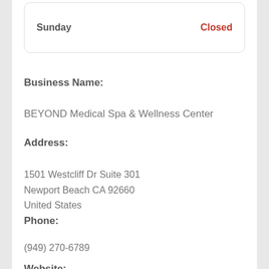| Day | Hours |
| --- | --- |
| Sunday | Closed |
Business Name:
BEYOND Medical Spa & Wellness Center
Address:
1501 Westcliff Dr Suite 301
Newport Beach CA 92660
United States
Phone:
(949) 270-6789
Website: